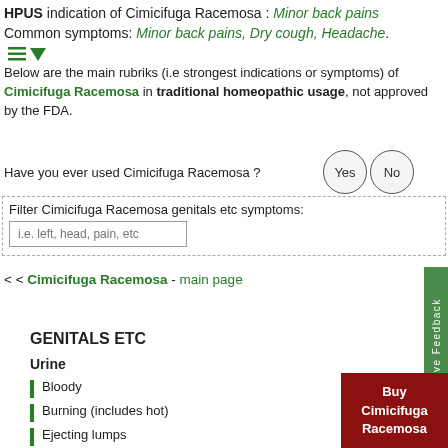HPUS indication of Cimicifuga Racemosa : Minor back pains
Common symptoms: Minor back pains, Dry cough, Headache.
Below are the main rubriks (i.e strongest indications or symptoms) of Cimicifuga Racemosa in traditional homeopathic usage, not approved by the FDA.
Have you ever used Cimicifuga Racemosa ?
Filter Cimicifuga Racemosa genitals etc symptoms:
< < Cimicifuga Racemosa - main page
GENITALS ETC
Urine
Bloody
Burning (includes hot)
Ejecting lumps
Buy Cimicifuga Racemosa